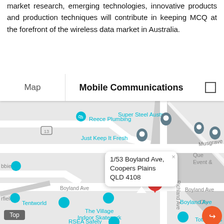market research, emerging technologies, innovative products and production techniques will contribute in keeping MCQ at the forefront of the wireless data market in Australia.
[Figure (map): Google Maps screenshot showing the location of 1/53 Boyland Ave, Coopers Plains QLD 4108, with a red pin marker and callout box. The map header shows 'Map' and 'Mobile Communications' tabs. Nearby landmarks include Reece Plumbing, Just Keep It Fresh, Tentworld, The Village Indoor Skatepark, Total Parts Plus, RSEA Safety, and Super Steel Australia. Streets shown include Musgrave Rd, Boyland Ave, and Richland Ave.]